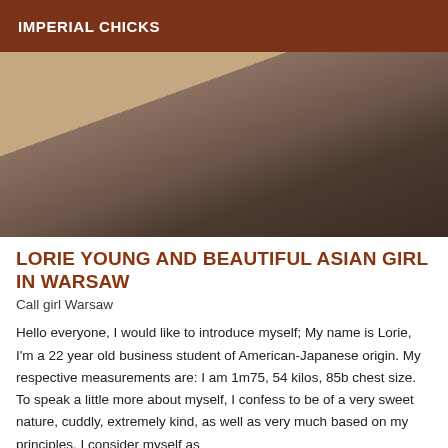IMPERIAL CHICKS
[Figure (photo): Close-up photo of a person wearing a beige/grey knit bralette top, cropped, with tiled floor visible in background]
LORIE YOUNG AND BEAUTIFUL ASIAN GIRL IN WARSAW
Call girl Warsaw
Hello everyone, I would like to introduce myself; My name is Lorie, I'm a 22 year old business student of American-Japanese origin. My respective measurements are: I am 1m75, 54 kilos, 85b chest size. To speak a little more about myself, I confess to be of a very sweet nature, cuddly, extremely kind, as well as very much based on my principles. I consider myself as